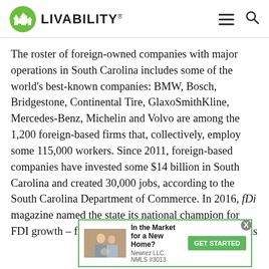LIVABILITY
The roster of foreign-owned companies with major operations in South Carolina includes some of the world's best-known companies: BMW, Bosch, Bridgestone, Continental Tire, GlaxoSmithKline, Mercedes-Benz, Michelin and Volvo are among the 1,200 foreign-based firms that, collectively, employ some 115,000 workers. Since 2011, foreign-based companies have invested some $14 billion in South Carolina and created 30,000 jobs, according to the South Carolina Department of Commerce. In 2016, fDi magazine named the state its national champion for FDI growth – further cementing South Carolina's status
[Figure (photo): Advertisement banner: In the Market for a New Home? Newrez LLC. NMLS #3013 - GET STARTED button with couple photo]